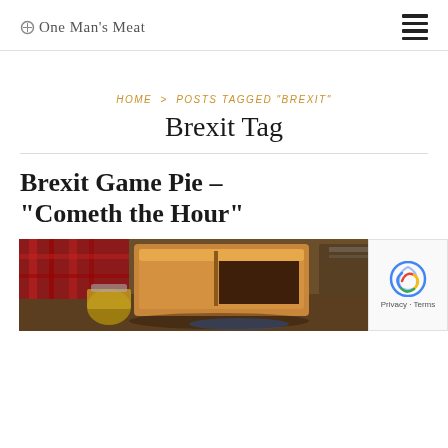One Man's Meat
HOME > POSTS TAGGED "BREXIT"
Brexit Tag
Brexit Game Pie – "Cometh the Hour"
[Figure (photo): A golden baked game pie sliced open showing dark meat filling, served with condiments and garnish on a rustic table with a tartan cloth.]